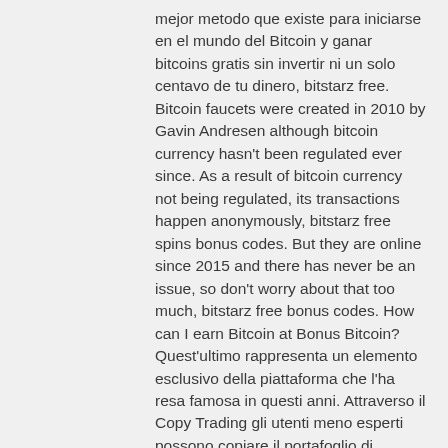mejor metodo que existe para iniciarse en el mundo del Bitcoin y ganar bitcoins gratis sin invertir ni un solo centavo de tu dinero, bitstarz free. Bitcoin faucets were created in 2010 by Gavin Andresen although bitcoin currency hasn't been regulated ever since. As a result of bitcoin currency not being regulated, its transactions happen anonymously, bitstarz free spins bonus codes. But they are online since 2015 and there has never be an issue, so don't worry about that too much, bitstarz free bonus codes. How can I earn Bitcoin at Bonus Bitcoin? Quest'ultimo rappresenta un elemento esclusivo della piattaforma che l'ha resa famosa in questi anni. Attraverso il Copy Trading gli utenti meno esperti possono copiare il portafoglio di investimenti dei trader di maggiore successo, bitstarz free spins code. The commissions will be directly added to your balance. This is free bitcoin